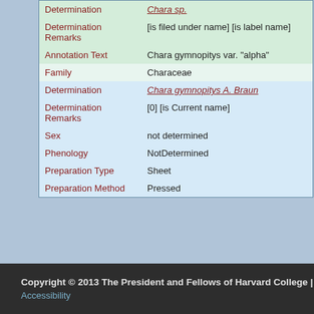| Field | Value |
| --- | --- |
| Determination | Chara sp. |
| Determination Remarks | [is filed under name] [is label name] |
| Annotation Text | Chara gymnopitys var. "alpha" |
| Family | Characeae |
| Determination | Chara gymnopitys A. Braun |
| Determination Remarks | [0] [is Current name] |
| Sex | not determined |
| Phenology | NotDetermined |
| Preparation Type | Sheet |
| Preparation Method | Pressed |
Copyright © 2013 The President and Fellows of Harvard College | Accessibility